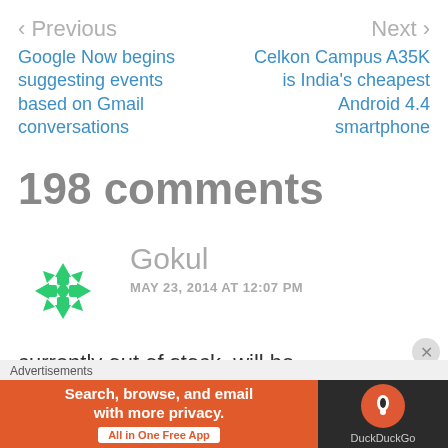< Previous    Next >
Google Now begins suggesting events based on Gmail conversations
Celkon Campus A35K is India's cheapest Android 4.4 smartphone
198 comments
Gokul
MAY 23, 2014 AT 12:07 PM
currently out of stock, will be
Advertisements
Search, browse, and email with more privacy. All in One Free App  DuckDuckGo